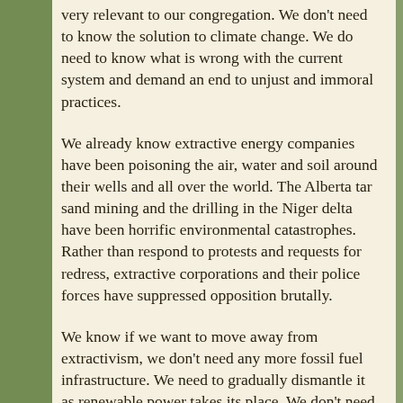very relevant to our congregation. We don't need to know the solution to climate change. We do need to know what is wrong with the current system and demand an end to unjust and immoral practices.
We already know extractive energy companies have been poisoning the air, water and soil around their wells and all over the world. The Alberta tar sand mining and the drilling in the Niger delta have been horrific environmental catastrophes. Rather than respond to protests and requests for redress, extractive corporations and their police forces have suppressed opposition brutally.
We know if we want to move away from extractivism, we don't need any more fossil fuel infrastructure. We need to gradually dismantle it as renewable power takes its place. We don't need to put communities like ours at risk with the bomb trains rolling through the city on a daily basis. We don't need another natural gas or oil pipeline ever.